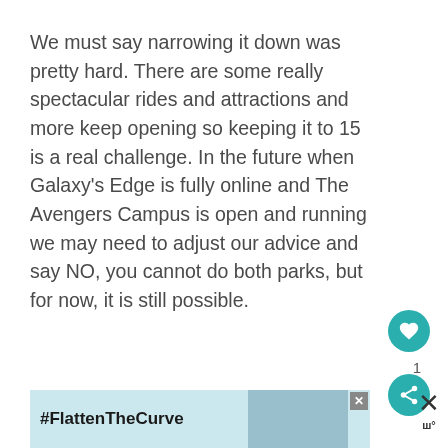We must say narrowing it down was pretty hard. There are some really spectacular rides and attractions and more keep opening so keeping it to 15 is a real challenge. In the future when Galaxy's Edge is fully online and The Avengers Campus is open and running we may need to adjust our advice and say NO, you cannot do both parks, but for now, it is still possible.
[Figure (other): Like button (heart icon) in teal circle, like count '1', and share button in teal circle]
[Figure (other): Advertisement banner showing '#FlattenTheCurve' with image of hands washing and a close button]